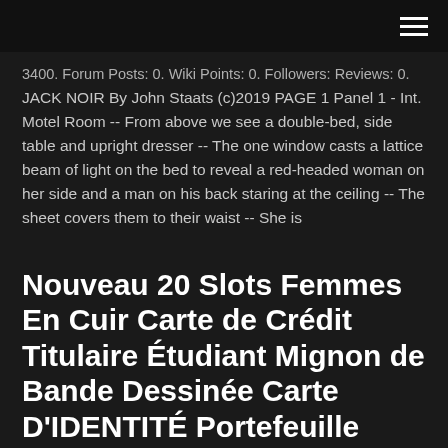3400. Forum Posts: 0. Wiki Points: 0. Followers: Reviews: 0. JACK NOIR By John Staats (c)2019 PAGE 1 Panel 1 - Int. Motel Room -- From above we see a double-bed, side table and upright dresser -- The one window casts a lattice beam of light on the bed to reveal a red-headed woman on her side and a man on his back staring at the ceiling -- The sheet covers them to their waist -- She is
Nouveau 20 Slots Femmes En Cuir Carte de Crédit Titulaire Étudiant Mignon de Bande Dessinée Carte D'IDENTITÉ Portefeuille Passeport Titulaire de la Carte D'affaires Protecteur